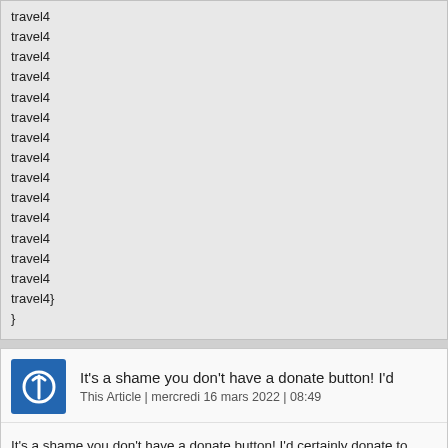travel4
travel4
travel4
travel4
travel4
travel4
travel4
travel4
travel4
travel4
travel4
travel4
travel4
travel4
travel4}
}
It's a shame you don't have a donate button! I'd
This Article | mercredi 16 mars 2022 | 08:49
It's a shame you don't have a donate button! I'd certainly donate to this fantastic blog! I guess for now i'll settle for bookmarking and adding your R